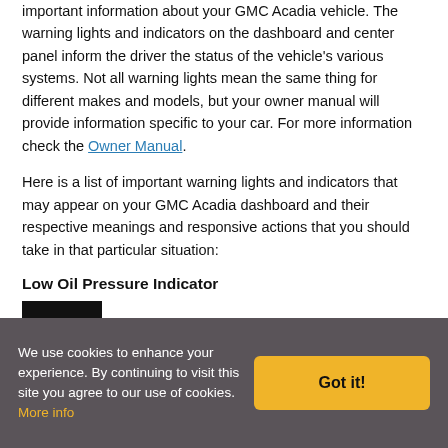important information about your GMC Acadia vehicle. The warning lights and indicators on the dashboard and center panel inform the driver the status of the vehicle's various systems. Not all warning lights mean the same thing for different makes and models, but your owner manual will provide information specific to your car. For more information check the Owner Manual.
Here is a list of important warning lights and indicators that may appear on your GMC Acadia dashboard and their respective meanings and responsive actions that you should take in that particular situation:
Low Oil Pressure Indicator
[Figure (other): Black rectangular image placeholder for Low Oil Pressure Indicator icon]
We use cookies to enhance your experience. By continuing to visit this site you agree to our use of cookies. More info